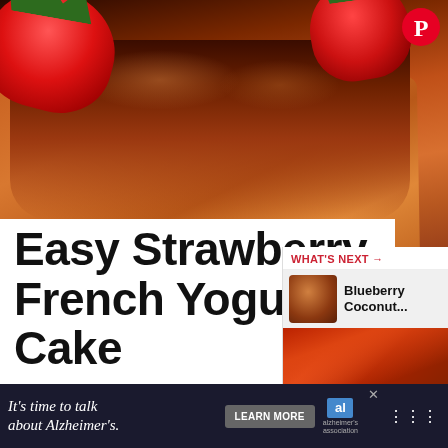[Figure (photo): Close-up photo of sliced strawberry French yogurt cake with glossy glaze on top, fresh strawberries visible in background]
PHOTO CREDIT: newbieinthekitchen.com
Easy Strawberry French Yogurt Cake
WHAT'S NEXT → Blueberry Coconut...
It's time to talk about Alzheimer's. LEARN MORE